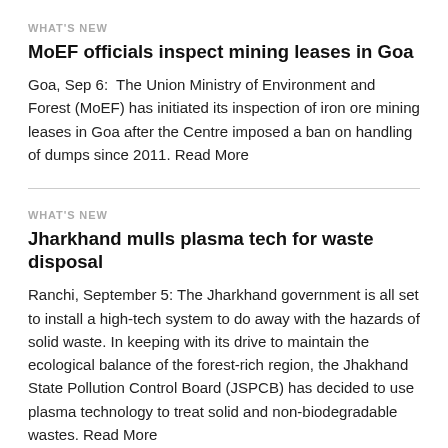WHAT'S NEW
MoEF officials inspect mining leases in Goa
Goa, Sep 6:  The Union Ministry of Environment and Forest (MoEF) has initiated its inspection of iron ore mining leases in Goa after the Centre imposed a ban on handling of dumps since 2011. Read More
WHAT'S NEW
Jharkhand mulls plasma tech for waste disposal
Ranchi, September 5: The Jharkhand government is all set to install a high-tech system to do away with the hazards of solid waste. In keeping with its drive to maintain the ecological balance of the forest-rich region, the Jhakhand State Pollution Control Board (JSPCB) has decided to use plasma technology to treat solid and non-biodegradable wastes. Read More